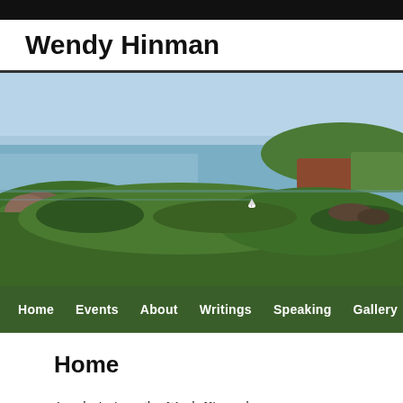Wendy Hinman
[Figure (photo): Aerial or elevated view of a coastal landscape with green hills, rocky terrain, calm blue ocean bay, and a small sailing boat visible in the water. Islands or headlands visible in the background.]
Home
Award-winning author Wendy Hinman has an